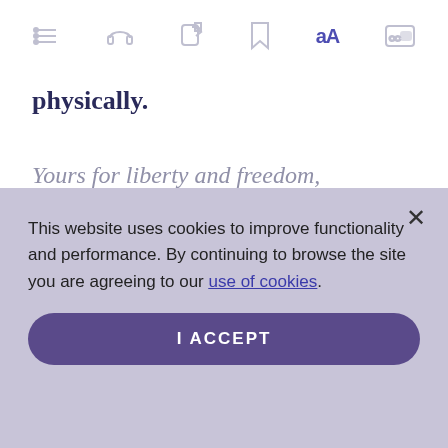[Figure (screenshot): Top navigation toolbar with icons: hamburger menu, headphones, share, bookmark, font size (aA), and captions toggle]
physically.
Yours for liberty and freedom,
Send a comment to the editors
This website uses cookies to improve functionality and performance. By continuing to browse the site you are agreeing to our use of cookies.
I ACCEPT